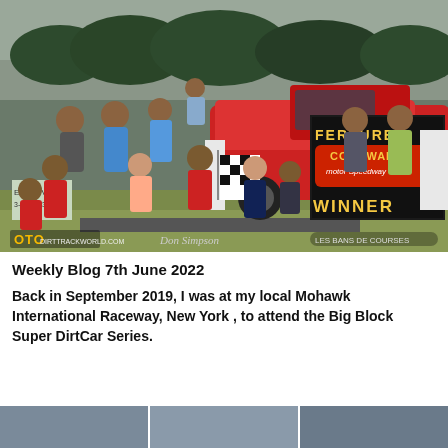[Figure (photo): Group photo of people celebrating a racing feature win at Cornwall Motor Speedway. A red dirt modified race car is behind them with a 'Feature Winner' sign board. People are holding a checkered flag and trophy. OTD and Don Simpson photographer watermarks visible.]
Weekly Blog 7th June 2022
Back in  September 2019, I was at my local Mohawk International Raceway,  New York ,  to attend the Big Block Super DirtCar Series.
[Figure (photo): Partial bottom strip showing three cropped racing photos]